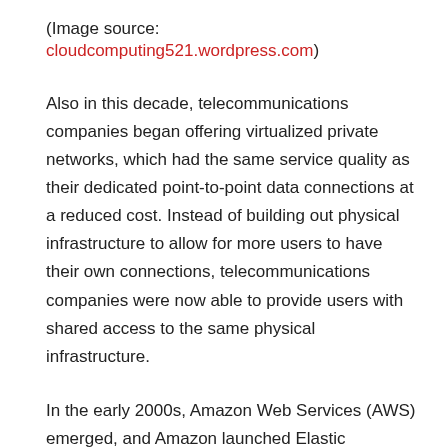(Image source: cloudcomputing521.wordpress.com)
Also in this decade, telecommunications companies began offering virtualized private networks, which had the same service quality as their dedicated point-to-point data connections at a reduced cost. Instead of building out physical infrastructure to allow for more users to have their own connections, telecommunications companies were now able to provide users with shared access to the same physical infrastructure.
In the early 2000s, Amazon Web Services (AWS) emerged, and Amazon launched Elastic Compute Cloud (EC2) in 2006, allowing companies and individuals to rent virtual computers through which